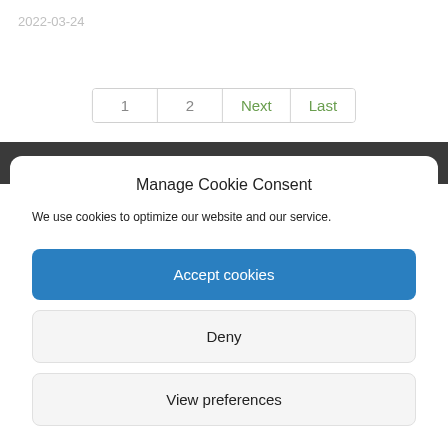2022-03-24
1  2  Next  Last
Manage Cookie Consent
We use cookies to optimize our website and our service.
Accept cookies
Deny
View preferences